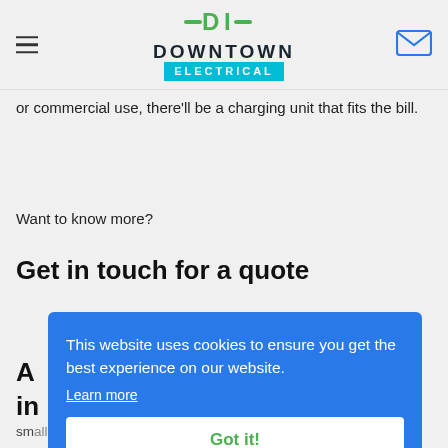Downtown Electrical — navigation header with hamburger menu, logo, and email icon
or commercial use, there'll be a charging unit that fits the bill.
Want to know more?
Get in touch for a quote
A[partially visible] in[partially visible]
We[partially visible] ho[partially visible] sm[partially visible] charging is a great option for those looking to
[Figure (screenshot): Cookie consent banner overlay on blue background reading 'This website uses cookies to ensure you get the best experience on our website. Learn more' with a white 'Got it!' button]